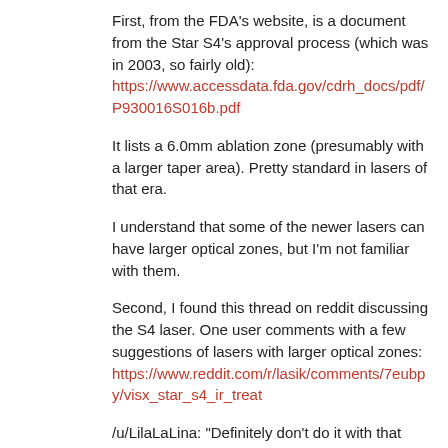First, from the FDA's website, is a document from the Star S4's approval process (which was in 2003, so fairly old):
https://www.accessdata.fda.gov/cdrh_docs/pdf/P930016S016b.pdf
It lists a 6.0mm ablation zone (presumably with a larger taper area). Pretty standard in lasers of that era.
I understand that some of the newer lasers can have larger optical zones, but I'm not familiar with them.
Second, I found this thread on reddit discussing the S4 laser. One user comments with a few suggestions of lasers with larger optical zones:
https://www.reddit.com/r/lasik/comments/7eubpy/visx_star_s4_ir_treat
/u/LilaLaLina: "Definitely don't do it with that laser. Go for a treatment that uses a full 7.5mm optical zone and blends to 9.5mm. LASIK, PRK or SMILE with more modern lasers from Zeiss, Wavelight or Schwind should be able to give you a proper treatment."
—
As for halos themselves, I wrote an article which should answer a few of your questions: